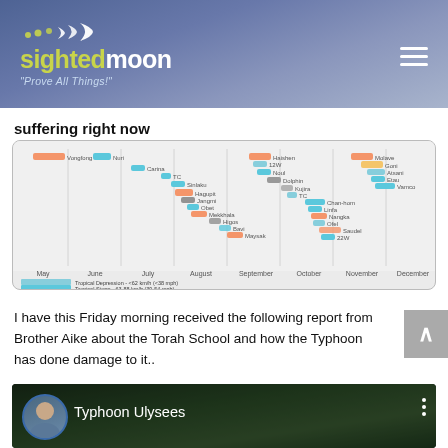sightedmoon — "Prove All Things!"
suffering right now
[Figure (infographic): Timeline chart of typhoons and tropical storms from May to December, showing named storms like Vongfong, Hagupit, Haiyan, Ulysses, Goni, and others plotted along a horizontal timeline with colored bars indicating storm intensity categories (Tropical Depression, Tropical Storm, Severe Tropical Storm, Typhoon).]
I have this Friday morning received the following report from Brother Aike about the Torah School and how the Typhoon has done damage to it..
[Figure (screenshot): Video thumbnail showing a man with a circular avatar photo and text 'Typhoon Ulysees' on a dark background with storm/rain scene visible.]